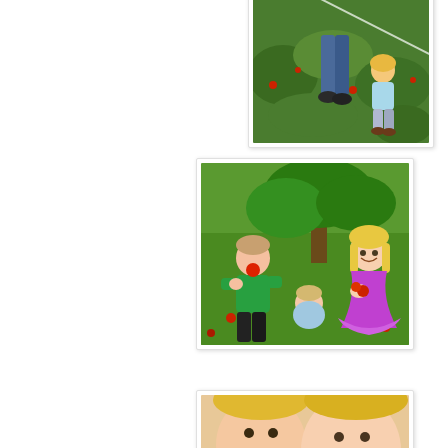[Figure (photo): Aerial/overhead view of an adult and a small blonde child walking among green garden plants, picking apples or strawberries outdoors.]
[Figure (photo): Three young children standing in an apple orchard under a tree. A boy in a green shirt on the left eating a red apple, a toddler in the middle bending down, and a girl in a purple dress on the right holding apples and smiling.]
[Figure (photo): Partially visible photo at the bottom of the page showing close-up of blonde-haired children's faces.]